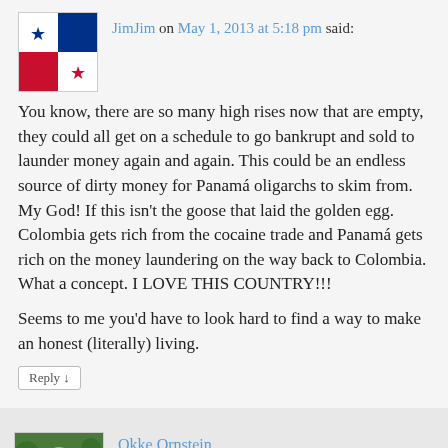JimJim on May 1, 2013 at 5:18 pm said:
You know, there are so many high rises now that are empty, they could all get on a schedule to go bankrupt and sold to launder money again and again. This could be an endless source of dirty money for Panamá oligarchs to skim from. My God! If this isn't the goose that laid the golden egg. Colombia gets rich from the cocaine trade and Panamá gets rich on the money laundering on the way back to Colombia. What a concept. I LOVE THIS COUNTRY!!!
Seems to me you'd have to look hard to find a way to make an honest (literally) living.
Reply ↓
Okke Ornstein on May 1, 2013 at 7:52 pm said: